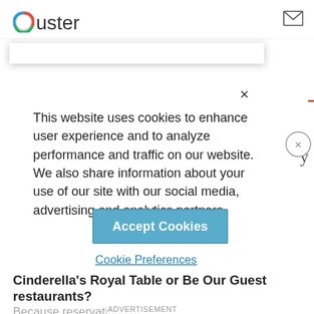Ouster
This website uses cookies to enhance user experience and to analyze performance and traffic on our website. We also share information about your use of our site with our social media, advertising and analytics partners.
Accept Cookies
Cookie Preferences
Cinderella's Royal Table or Be Our Guest restaurants?
Because reservations require a credit card and 24-hour cancellation policy, keep an eye on the Disney dining site for next-day openings.
ADVERTISEMENT